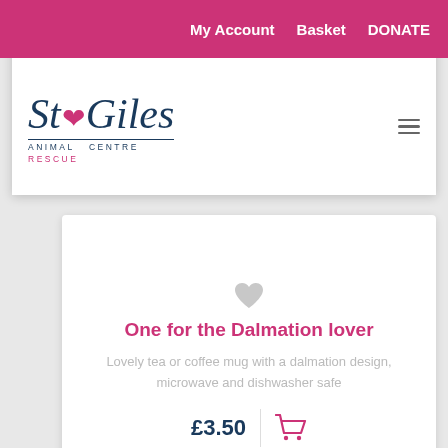My Account   Basket   DONATE
[Figure (logo): St Giles Animal Centre Rescue logo with paw print]
One for the Dalmation lover
Lovely tea or coffee mug with a dalmation design, microwave and dishwasher safe
£3.50
[Figure (photo): Photo of a white ceramic watch on a wrist/surface]